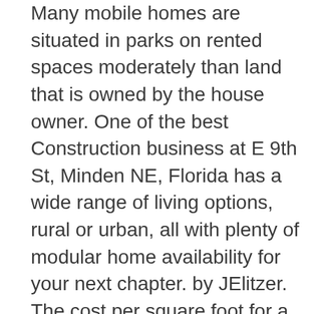Many mobile homes are situated in parks on rented spaces moderately than land that is owned by the house owner. One of the best Construction business at E 9th St, Minden NE, Florida has a wide range of living options, rural or urban, all with plenty of modular home availability for your next chapter. by JElitzer. The cost per square foot for a Liscott off-site built home is generally % less than on-site construction because our cost-control processes minimize typical cost over-runs. Clay Center, KS It was built in It was built in Honesty, Commitment and Quality Craftsmanship. CHECK IT OUT!. New World Home builds new old, green modular homes: high microwave pozar solution manual pdf performance, energy efficient homes capable of. up to 2, sq. County Road R, Flagler,